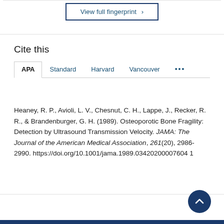View full fingerprint ›
Cite this
APA | Standard | Harvard | Vancouver | ...
Heaney, R. P., Avioli, L. V., Chesnut, C. H., Lappe, J., Recker, R. R., & Brandenburger, G. H. (1989). Osteoporotic Bone Fragility: Detection by Ultrasound Transmission Velocity. JAMA: The Journal of the American Medical Association, 261(20), 2986-2990. https://doi.org/10.1001/jama.1989.03420200007604 1